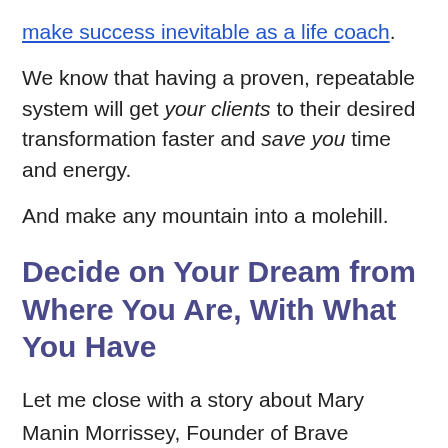make success inevitable as a life coach.
We know that having a proven, repeatable system will get your clients to their desired transformation faster and save you time and energy.
And make any mountain into a molehill.
Decide on Your Dream from Where You Are, With What You Have
Let me close with a story about Mary Manin Morrissey, Founder of Brave Thinking Institute. She went from full time employee to teaching